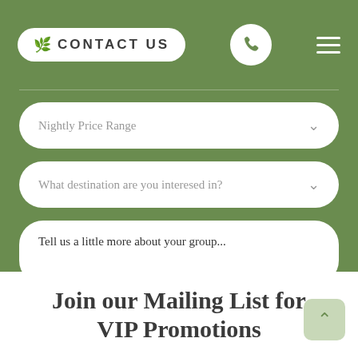CONTACT US
Nightly Price Range
What destination are you interesed in?
Tell us a little more about your group...
SEND INQUIRY
Join our Mailing List for VIP Promotions